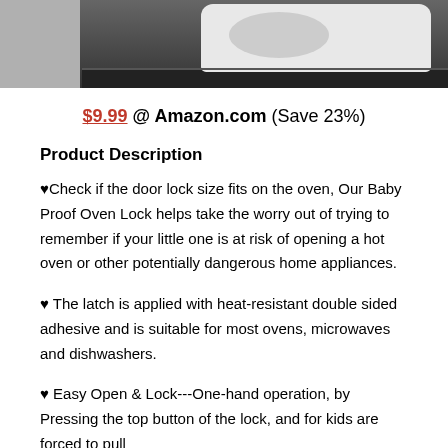[Figure (photo): Product image of a baby proof oven lock device, showing a white device on a dark background with a gray section on the left]
$9.99 @ Amazon.com (Save 23%)
Product Description
♥Check if the door lock size fits on the oven, Our Baby Proof Oven Lock helps take the worry out of trying to remember if your little one is at risk of opening a hot oven or other potentially dangerous home appliances.
♥ The latch is applied with heat-resistant double sided adhesive and is suitable for most ovens, microwaves and dishwashers.
♥ Easy Open & Lock---One-hand operation, by Pressing the top button of the lock, then feel for kids are forced to pull...